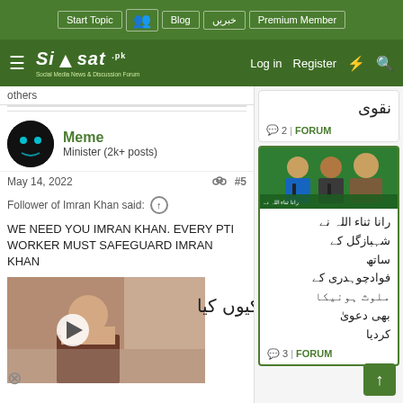Siasat.pk - Start Topic | Blog | خبریں | Premium Member | Log in | Register
others
Meme
Minister (2k+ posts)
May 14, 2022
Follower of Imran Khan said:
WE NEED YOU IMRAN KHAN. EVERY PTI WORKER MUST SAFEGUARD IMRAN KHAN
[Figure (screenshot): Video thumbnail showing a woman]
کیوں کیا
نقوی
2 | FORUM
[Figure (photo): Photo of two men at a press conference]
رانا ثناء اللہ نے شہبازگل کے ساتھ فوادچوہدری کے ملوث ہونیکا بھی دعویٰ کردیا
3 | FORUM